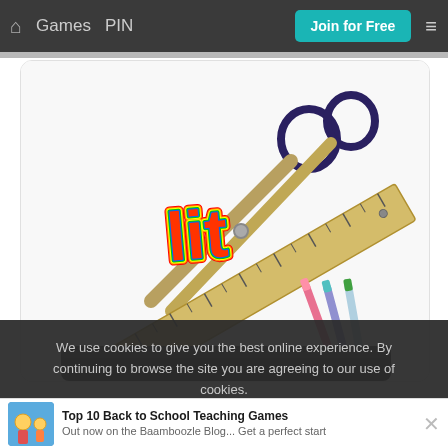Games  PIN  Join for Free  ☰
[Figure (screenshot): Educational game image showing school supplies: scissors, a ruler, pens, and a colorful 'lit' text logo on a white background]
We use cookies to give you the best online experience. By continuing to browse the site you are agreeing to our use of cookies.
Top 10 Back to School Teaching Games
Out now on the Baamboozle Blog... Get a perfect start